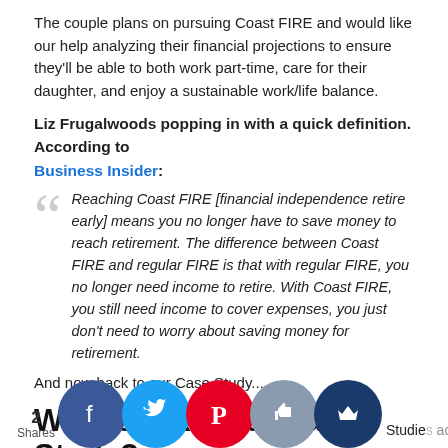The couple plans on pursuing Coast FIRE and would like our help analyzing their financial projections to ensure they'll be able to both work part-time, care for their daughter, and enjoy a sustainable work/life balance.
Liz Frugalwoods popping in with a quick definition. According to Business Insider:
Reaching Coast FIRE [financial independence retire early] means you no longer have to save money to reach retirement. The difference between Coast FIRE and regular FIRE is that with regular FIRE, you no longer need income to retire. With Coast FIRE, you still need income to cover expenses, you just don't need to worry about saving money for retirement.
And now back to our Case Study...
What's a Reader Case Study?
Studies address financial and life dilemmas that readers of